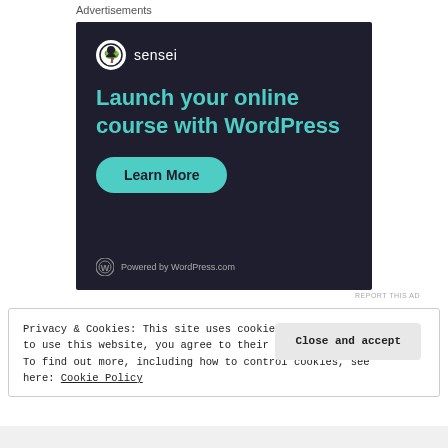Advertisements
[Figure (illustration): Sensei advertisement on dark background with teal headline 'Launch your online course with WordPress', a Learn More button, and Powered by WordPress.com footer]
REPORT THIS AD
Privacy & Cookies: This site uses cookies. By continuing to use this website, you agree to their use. To find out more, including how to control cookies, see here: Cookie Policy
Close and accept